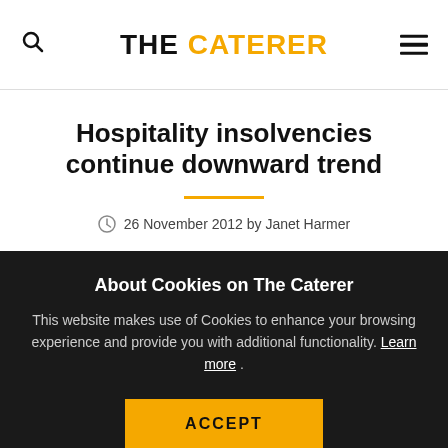THE CATERER
Hospitality insolvencies continue downward trend
26 November 2012 by Janet Harmer
About Cookies on The Caterer
This website makes use of Cookies to enhance your browsing experience and provide you with additional functionality. Learn more .
ACCEPT